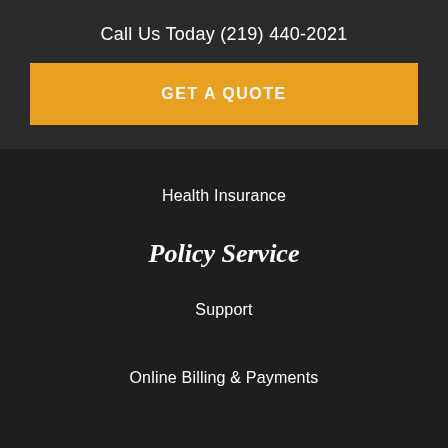Call Us Today (219) 440-2021
GET A QUOTE
Health Insurance
Policy Service
Support
Online Billing & Payments